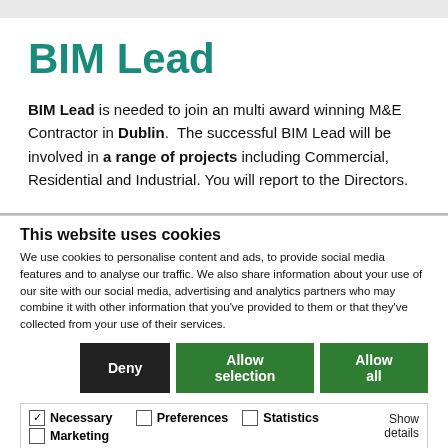BIM Lead
BIM Lead is needed to join an multi award winning M&E Contractor in Dublin. The successful BIM Lead will be involved in a range of projects including Commercial, Residential and Industrial. You will report to the Directors.
This website uses cookies
We use cookies to personalise content and ads, to provide social media features and to analyse our traffic. We also share information about your use of our site with our social media, advertising and analytics partners who may combine it with other information that you've provided to them or that they've collected from your use of their services.
Deny | Allow selection | Allow all
Necessary | Preferences | Statistics | Marketing | Show details